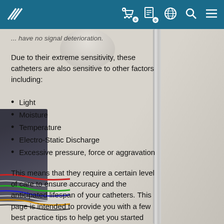[Navigation bar with logo and icons: cart (0), document (0), globe, search, menu]
... have no signal deterioration.
Due to their extreme sensitivity, these catheters are also sensitive to other factors including:
Light
Moisture
Temperature
Electro-Static Discharge
Excessive pressure, force or aggravation
This means that they require a certain level of care to ensure accuracy and the anticipated lifespan of your catheters. This page is intended to provide you with a few best practice tips to help get you started with your catheters.